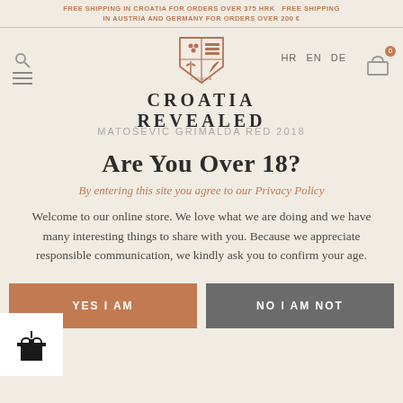FREE SHIPPING IN CROATIA FOR ORDERS OVER 375 HRK  FREE SHIPPING IN AUSTRIA AND GERMANY FOR ORDERS OVER 200 €
[Figure (logo): Croatia Revealed wine shop logo with heraldic shield containing grape and wheat motifs, text CROATIA REVEALED]
HR  EN  DE
MATOŠEVIĆ GRIMALDA RED 2018
Are You Over 18?
By entering this site you agree to our Privacy Policy
Welcome to our online store. We love what we are doing and we have many interesting things to share with you. Because we appreciate responsible communication, we kindly ask you to confirm your age.
YES I AM
NO I AM NOT